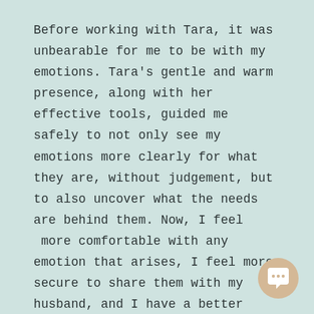Before working with Tara, it was unbearable for me to be with my emotions. Tara's gentle and warm presence, along with her effective tools, guided me safely to not only see my emotions more clearly for what they are, without judgement, but to also uncover what the needs are behind them. Now, I feel  more comfortable with any emotion that arises, I feel more secure to share them with my husband, and I have a better understanding of what my needs are and what I can do to fulfil them. I also live more of my days with gratitude rather than unworthiness. Thank you Tara
[Figure (illustration): A circular chat/message bubble icon in a warm tan/beige color, positioned at the bottom right of the card.]